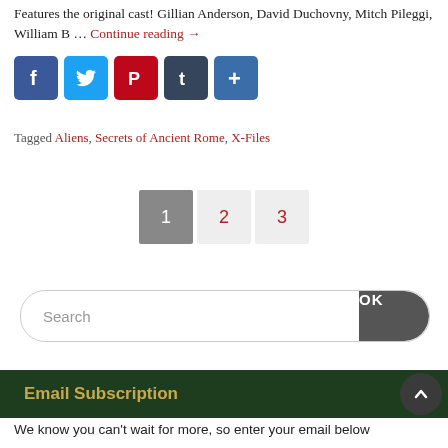Features the original cast! Gillian Anderson, David Duchovny, Mitch Pileggi, William B … Continue reading →
[Figure (other): Social sharing icons: Facebook (blue), Twitter (light blue), Pinterest (red), Tumblr (dark blue), Share/Add (blue)]
Tagged Aliens, Secrets of Ancient Rome, X-Files
Pagination: 1 (active), 2, 3
Search OK
Email Subscription
We know you can't wait for more, so enter your email below